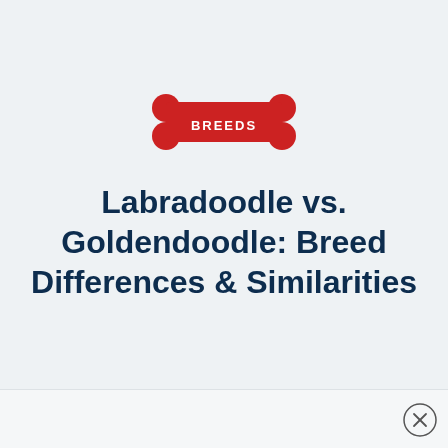[Figure (illustration): Red dog bone shape with white bold text 'BREEDS' centered inside]
Labradoodle vs. Goldendoodle: Breed Differences & Similarities
[Figure (other): Close button (X in circle) in bottom right corner]